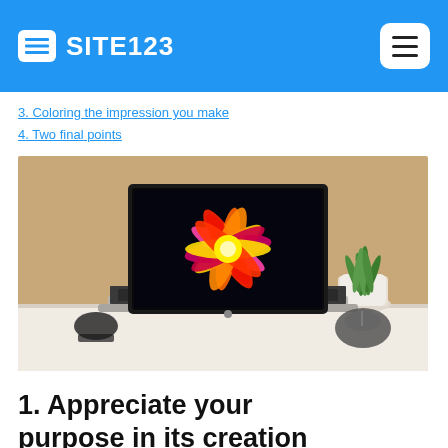SITE123
3. Coloring the impression you make
4. Two final points
[Figure (photo): MacBook laptop open on a white desk, showing a colorful flower explosion wallpaper on screen, with a black computer mouse to the right, a wristwatch to the left, and a potted green plant in the background against an orange/tan wall.]
1. Appreciate your purpose in its creation